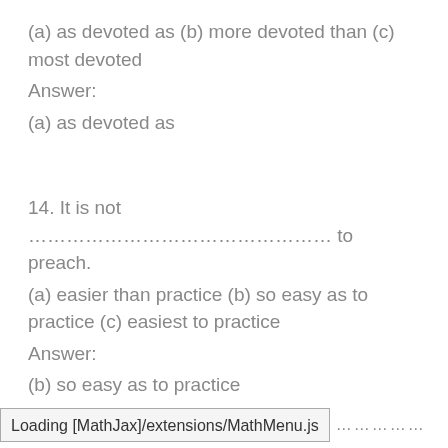(a) as devoted as (b) more devoted than (c) most devoted
Answer:
(a) as devoted as
14. It is not ………………………………… to preach.
(a) easier than practice (b) so easy as to practice (c) easiest to practice
Answer:
(b) so easy as to practice
Loading [MathJax]/extensions/MathMenu.js ………………